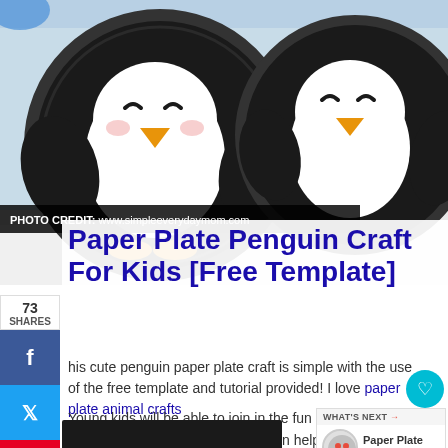[Figure (photo): Two paper plate penguins crafts on a white surface, black paper plates with white and yellow beaks and smiling faces]
PHOTO CREDIT: www.simpleeverydaymom.com
Paper Plate Penguin Craft For Kids [Free Template]
73 SHARES
This cute penguin paper plate craft is simple with the use of the free template and tutorial provided! I love paper plate animal crafts
Young kids will be able to join in the fun as some painting is required. Mum can help with and sticking together of the template!
WHAT'S NEXT → Paper Plate Flamingo Cr...